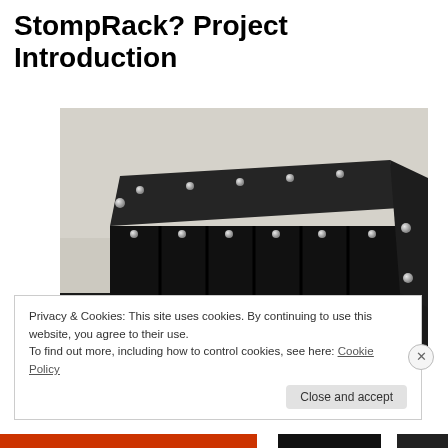StompRack? Project Introduction
[Figure (photo): A black rectangular rack enclosure with multiple vertical divider panels and silver bolts/screws along the edges and top surface, photographed on a dark surface against a light background.]
Privacy & Cookies: This site uses cookies. By continuing to use this website, you agree to their use.
To find out more, including how to control cookies, see here: Cookie Policy
Close and accept